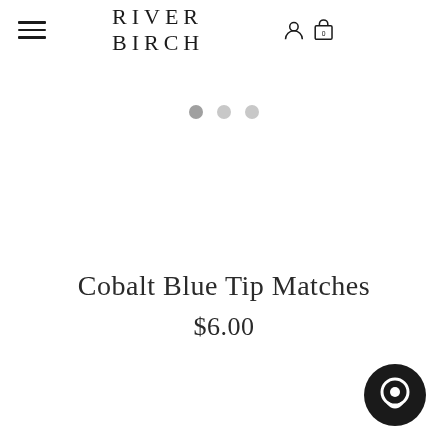RIVER BIRCH
[Figure (illustration): Three carousel indicator dots (two light gray, one slightly darker) indicating an image slideshow with no product image currently visible]
Cobalt Blue Tip Matches
$6.00
[Figure (illustration): Dark circular chat widget button in the bottom-right corner]